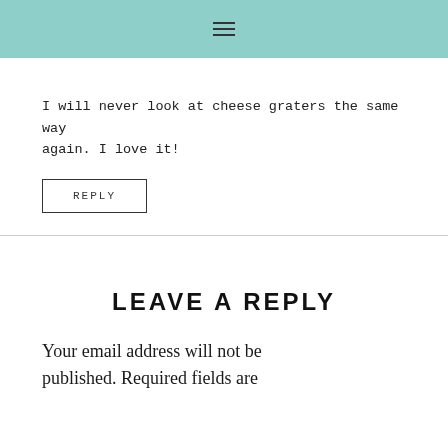≡
I will never look at cheese graters the same way again. I love it!
REPLY
LEAVE A REPLY
Your email address will not be published. Required fields are